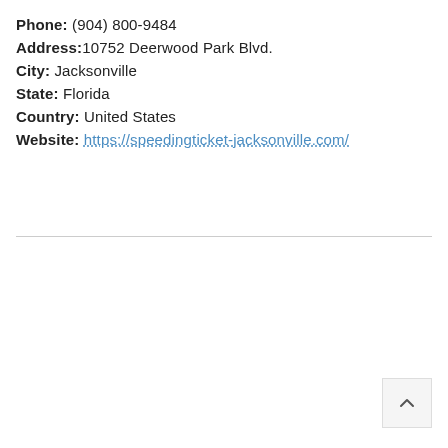Phone: (904) 800-9484
Address: 10752 Deerwood Park Blvd.
City: Jacksonville
State: Florida
Country: United States
Website: https://speedingticket-jacksonville.com/